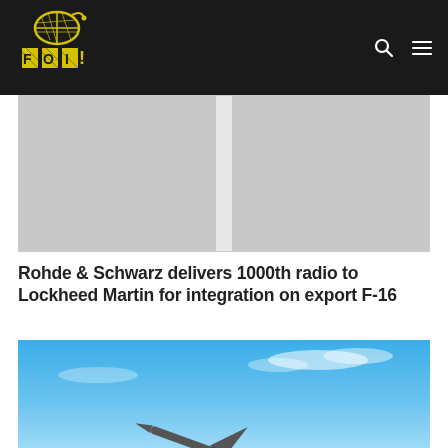FOI! logo and navigation header
[Figure (other): Advertisement banner with two grey image placeholders side by side]
Rohde & Schwarz delivers 1000th radio to Lockheed Martin for integration on export F-16
[Figure (photo): F-16 fighter jet photographed from below against a blue sky with light clouds, climbing steeply]